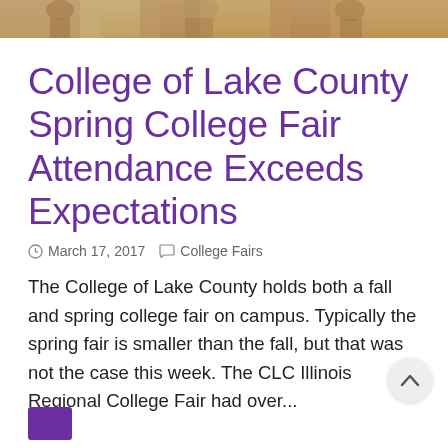[Figure (photo): Cropped photo strip showing people at a college fair event, warm brown/orange tones]
College of Lake County Spring College Fair Attendance Exceeds Expectations
March 17, 2017   College Fairs
The College of Lake County holds both a fall and spring college fair on campus. Typically the spring fair is smaller than the fall, but that was not the case this week. The CLC Illinois Regional College Fair had over...